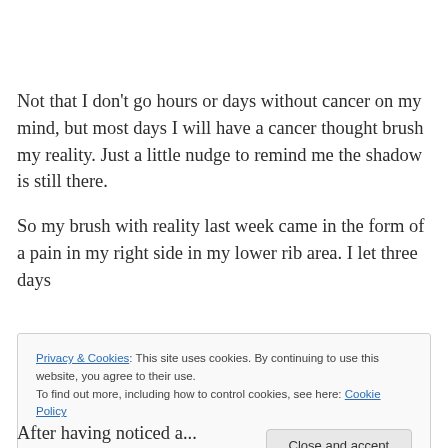Not that I don't go hours or days without cancer on my mind, but most days I will have a cancer thought brush my reality.  Just a little nudge to remind me the shadow is still there.
So my brush with reality last week came in the form of a pain in my right side in my lower rib area.  I let three days
Privacy & Cookies: This site uses cookies. By continuing to use this website, you agree to their use. To find out more, including how to control cookies, see here: Cookie Policy
After having noticed a...